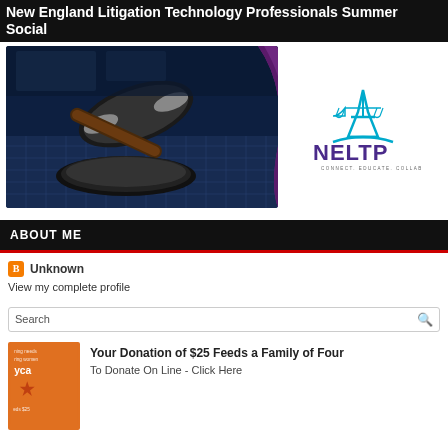New England Litigation Technology Professionals Summer Social
[Figure (photo): Banner image with a judge's gavel on a laptop keyboard (dark blue tones), purple swoosh accent, and the NELTP logo with scales of justice icon and tagline 'CONNECT. EDUCATE. COLLABORATE.']
ABOUT ME
Unknown
View my complete profile
Search
[Figure (photo): Orange YWCA donation promotional image with a star graphic and text about feeding a family]
Your Donation of $25 Feeds a Family of Four
To Donate On Line - Click Here